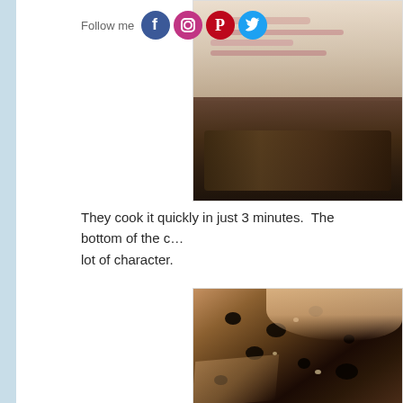[Figure (photo): Top-down view of an uncooked flatbread/pizza on a baking tray with toppings]
Follow me
They cook it quickly in just 3 minutes.  The bottom of the c… lot of character.
[Figure (photo): Close-up of a hand holding a piece of charred flatbread showing the leopard-spotted bottom crust]